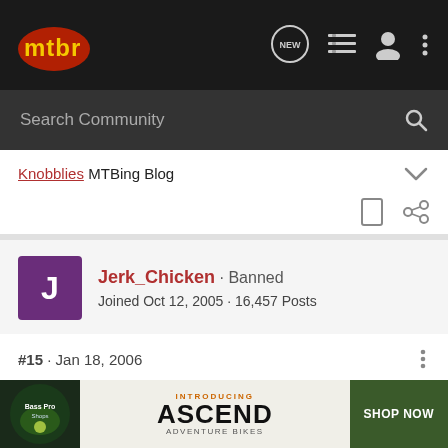mtbr
Search Community
Knobblies MTBing Blog
Jerk_Chicken · Banned
Joined Oct 12, 2005 · 16,457 Posts
#15 · Jan 18, 2006
SpawningGround said:
I'v noticed Marzocchis can hide a lot of oil inside of them. Sure 95% of it dr... it difficu... ng to measu...